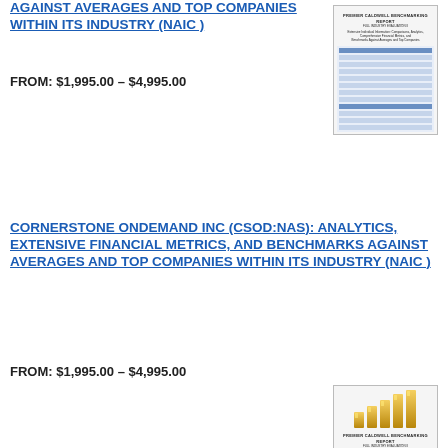AGAINST AVERAGES AND TOP COMPANIES WITHIN ITS INDUSTRY (NAIC )
FROM: $1,995.00 – $4,995.00
[Figure (other): Thumbnail image of a financial benchmarking report cover with gold bar chart graphic and tabular data]
CORNERSTONE ONDEMAND INC (CSOD:NAS): ANALYTICS, EXTENSIVE FINANCIAL METRICS, AND BENCHMARKS AGAINST AVERAGES AND TOP COMPANIES WITHIN ITS INDUSTRY (NAIC )
FROM: $1,995.00 – $4,995.00
[Figure (other): Thumbnail image of a financial benchmarking report cover with gold bar chart graphic and tabular data]